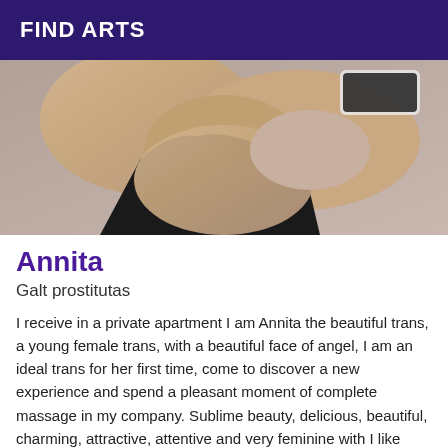FIND ARTS
[Figure (photo): Close-up photo of a person wearing a black bikini top, lying down, with a smartphone visible in the upper right corner.]
Annita
Galt prostitutas
I receive in a private apartment I am Annita the beautiful trans, a young female trans, with a beautiful face of angel, I am an ideal trans for her first time, come to discover a new experience and spend a pleasant moment of complete massage in my company. Sublime beauty, delicious, beautiful, charming, attractive, attentive and very feminine with I like new experiences, I am sociable, smiling, jovial, open-minded, open-minded. So come and embellish your daily life with a very good